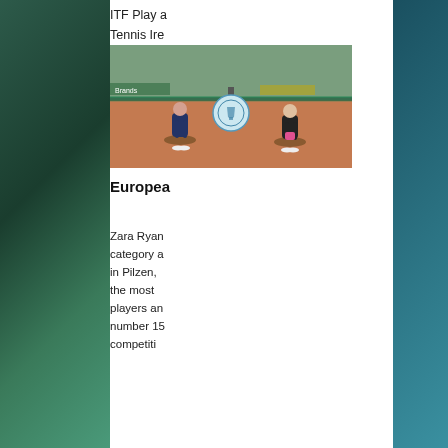ITF Play a Tennis Ire
[Figure (photo): Two female tennis players crouching at the net on a clay court, with a European cup logo between them.]
Europea
Zara Ryan category a in Pilzen, the most players an number 15 competiti